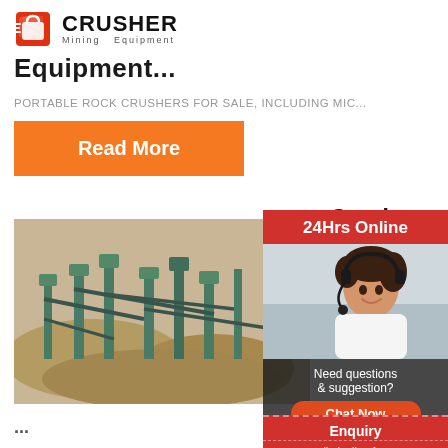CRUSHER Mining Equipment
Equipment...
PORTABLE ROCK CRUSHERS FOR SALE, INCLUDING MIC...
Read More
[Figure (photo): Aerial view of a large mining crushing and aggregate processing facility with multiple conveyor belts and machinery, surrounded by piles of crushed stone material.]
Crush Aggre Equip For So 2327 L
...
[Figure (photo): Asian woman wearing a headset, smiling, representing a 24-hour online customer service representative for the crusher mining equipment company.]
24Hrs Online
Need questions & suggestion?
Chat Now
Enquiry
limingjlmofen@sina.com